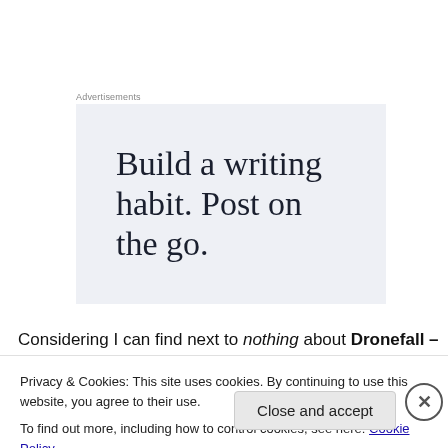Advertisements
[Figure (other): Advertisement banner with text: Build a writing habit. Post on the go.]
Considering I can find next to nothing about Dronefall –
Privacy & Cookies: This site uses cookies. By continuing to use this website, you agree to their use.
To find out more, including how to control cookies, see here: Cookie Policy
Close and accept